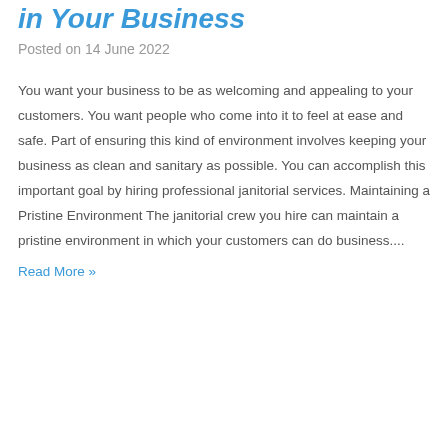in Your Business
Posted on 14 June 2022
You want your business to be as welcoming and appealing to your customers. You want people who come into it to feel at ease and safe. Part of ensuring this kind of environment involves keeping your business as clean and sanitary as possible. You can accomplish this important goal by hiring professional janitorial services. Maintaining a Pristine Environment The janitorial crew you hire can maintain a pristine environment in which your customers can do business....
Read More »